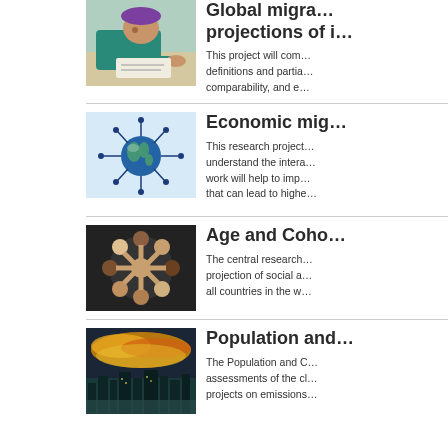[Figure (photo): Person in surgical or work attire leaning over a surface, writing or examining something closely, wearing a purple hat]
Global migra… projections of i…
This project will com… definitions and partia… comparability, and e…
[Figure (illustration): Globe with human figures arranged around it radiating outward like sun rays, in blue tones, representing global migration]
Economic mig…
This research project… understand the intera… work will help to imp… that can lead to highe…
[Figure (photo): Group of diverse people lying in a circle with heads together viewed from above, hands joined in center]
Age and Coho…
The central research… projection of social a… all countries in the w…
[Figure (photo): City skyline at sunset with dramatic yellow and orange clouds in the sky]
Population and…
The Population and C… assessments of the cl… projects on emissions…